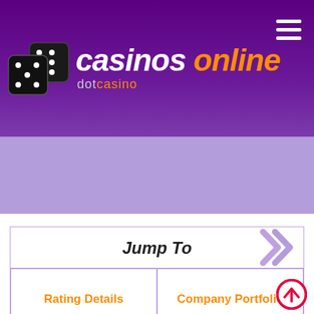[Figure (logo): Casinos Online dotcasino logo with dice, white and orange text on purple header background]
[Figure (illustration): Light purple/lavender banner area below header]
| Jump To |
| --- |
| Rating Details | Company Portfolio |
| Banking | Promotions |
| Smartphone Mobile |  |